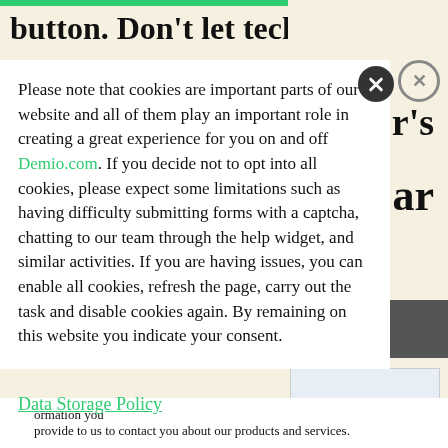button. Don't let technical glitches, poor
Please note that cookies are important parts of our website and all of them play an important role in creating a great experience for you on and off Demio.com. If you decide not to opt into all cookies, please expect some limitations such as having difficulty submitting forms with a captcha, chatting to our team through the help widget, and similar activities. If you are having issues, you can enable all cookies, refresh the page, carry out the task and disable cookies again. By remaining on this website you indicate your consent.
Data Storage Policy
ormation you provide to us to contact you about our products and services.